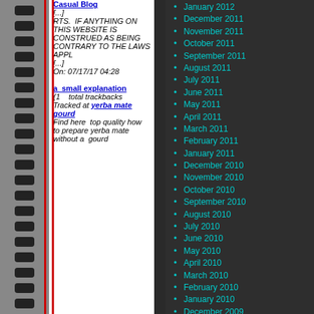Casual Blog
[...]
RTS. IF ANYTHING ON THIS WEBSITE IS CONSTRUED AS BEING CONTRARY TO THE LAWS APPL
[...]
On: 07/17/17 04:28
a small explanation
(1 total trackbacks Tracked at yerba mate gourd
Find here top quality how to prepare yerba mate without a gourd
January 2012
December 2011
November 2011
October 2011
September 2011
August 2011
July 2011
June 2011
May 2011
April 2011
March 2011
February 2011
January 2011
December 2010
November 2010
October 2010
September 2010
August 2010
July 2010
June 2010
May 2010
April 2010
March 2010
February 2010
January 2010
December 2009
November 2009
October 2009
September 2009
August 2009
July 2009
June 2009
May 2009
April 2009
March 2009
February 2009
January 2009
December 2008
November 2008
October 2008
September 2008